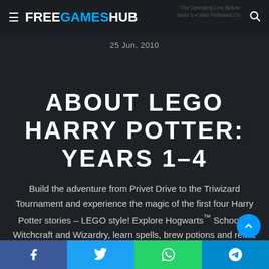FREEGAMESHUB
25 Jun, 2010
ABOUT LEGO HARRY POTTER: YEARS 1-4
Build the adventure from Privet Drive to the Triwizard Tournament and experience the magic of the first four Harry Potter stories – LEGO style! Explore Hogwarts™ School of Witchcraft and Wizardry, learn spells, brew potions and relive the adventures like never before with tongue-in-cheek humor and creative customization that i
Social share bar: Facebook, Twitter, WhatsApp, Telegram